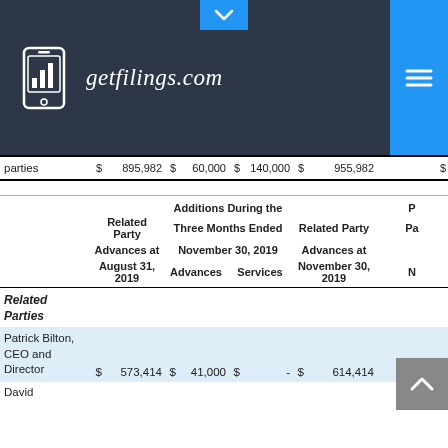getfilings.com
|  | Related Party Advances at August 31, 2019 | Additions During the Three Months Ended November 30, 2019 — Advances | Additions During the Three Months Ended November 30, 2019 — Services | Related Party Advances at November 30, 2019 | Pa... |
| --- | --- | --- | --- | --- | --- |
| parties | $ | 895,982 | $ | 60,000 | $ | 140,000 | $ | 955,982 | $ |
| Related Parties |  |  |  |  |  |  |  |  |  |
| Patrick Bilton, CEO and Director | $ | 573,414 | $ | 41,000 | $ | - | $ | 614,414 | $ |
| David |  |  |  |  |  |  |  |  |  |